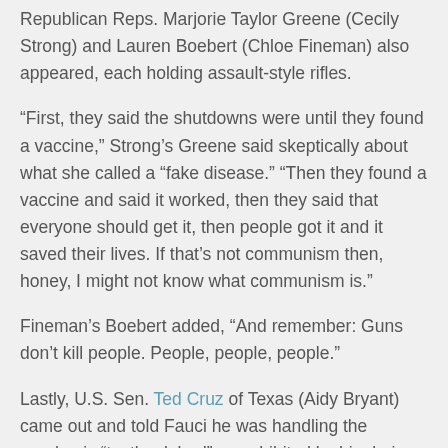Republican Reps. Marjorie Taylor Greene (Cecily Strong) and Lauren Boebert (Chloe Fineman) also appeared, each holding assault-style rifles.
“First, they said the shutdowns were until they found a vaccine,” Strong’s Greene said skeptically about what she called a “fake disease.” “Then they found a vaccine and said it worked, then they said that everyone should get it, then people got it and it saved their lives. If that’s not communism then, honey, I might not know what communism is.”
Fineman’s Boebert added, “And remember: Guns don’t kill people. People, people, people.”
Lastly, U.S. Sen. Ted Cruz of Texas (Aidy Bryant) came out and told Fauci he was handling the pandemic “textbook bad” as exhibited by him being the only one not wearing a mask at last week’s funeral for the late U.S. Sen. Bob Dole.
Bryant’s Cruz added that he got back at Dole for